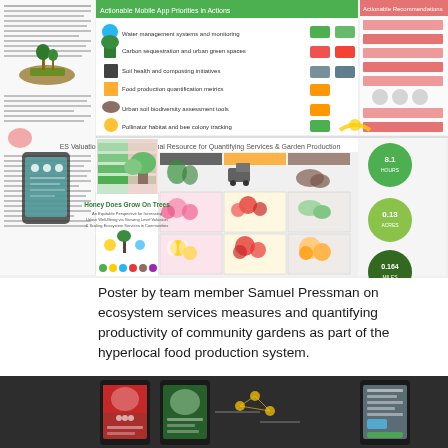[Figure (infographic): A detailed infographic poster by Samuel Pressman about ecosystem services measures, quantifying productivity of community gardens, and hyperlocal food production systems. Shows charts, icons of plants, soil, water, bees, and quantification tools for garden services. Includes sections on honey production, urban well-being, and ecosystem valuation.]
Poster by team member Samuel Pressman on ecosystem services measures and quantifying productivity of community gardens as part of the hyperlocal food production system.
[Figure (screenshot): Dark-background infographic showing a mobile app interface with smartphone screens displaying food-related content, a P2P (peer-to-peer) marketplace, smart tracking feature, and producer community tools with cloud/network graphics.]